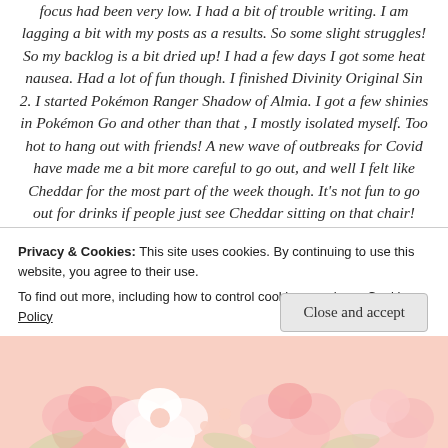focus had been very low. I had a bit of trouble writing. I am lagging a bit with my posts as a results. So some slight struggles! So my backlog is a bit dried up! I had a few days I got some heat nausea. Had a lot of fun though. I finished Divinity Original Sin 2. I started Pokémon Ranger Shadow of Almia. I got a few shinies in Pokémon Go and other than that , I mostly isolated myself. Too hot to hang out with friends! A new wave of outbreaks for Covid have made me a bit more careful to go out, and well I felt like Cheddar for the most part of the week though. It's not fun to go out for drinks if people just see Cheddar sitting on that chair! Pink Cheddar would be awesome though... so I am going to
Privacy & Cookies: This site uses cookies. By continuing to use this website, you agree to their use.
To find out more, including how to control cookies, see here: Cookie Policy
Close and accept
[Figure (illustration): Pink floral/rose decorative image strip at the bottom of the page]